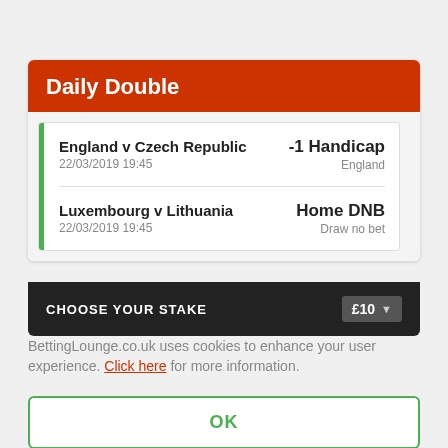Daily Double
England v Czech Republic | 22/03/2019 19:45 | -1 Handicap | England
Luxembourg v Lithuania | 22/03/2019 19:45 | Home DNB | Draw no bet
CHOOSE YOUR STAKE £10
BettingLounge.co.uk uses cookies to enhance your user experience. Click here for more information.
OK